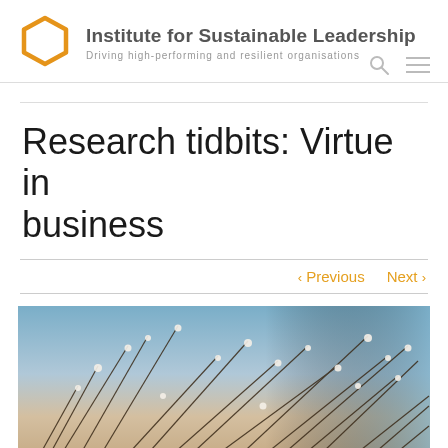[Figure (logo): Institute for Sustainable Leadership logo with hexagon icon and text 'Driving high-performing and resilient organisations']
Research tidbits: Virtue in business
< Previous   Next >
[Figure (photo): Close-up photograph of grass stems with water droplets against a warm sky background]